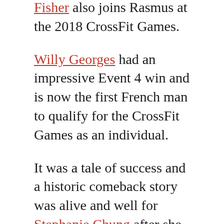Fisher also joins Rasmus at the 2018 CrossFit Games.
Willy Georges had an impressive Event 4 win and is now the first French man to qualify for the CrossFit Games as an individual.
It was a tale of success and a historic comeback story was alive and well for Stephanie Chung after she turned it around on Day 2 and went on to win Event 5.
And it was CrossFit Riviera that took the top spot on the podium in the team competition. Unfortunately in light of recent testing CrossFit